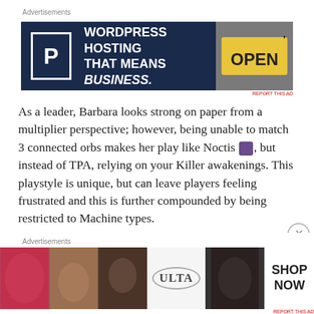Advertisements
[Figure (other): WordPress Hosting advertisement banner with dark navy background, P logo box, text 'WORDPRESS HOSTING THAT MEANS BUSINESS.' and an OPEN sign photo on the right]
As a leader, Barbara looks strong on paper from a multiplier perspective; however, being unable to match 3 connected orbs makes her play like Noctis [icon], but instead of TPA, relying on your Killer awakenings. This playstyle is unique, but can leave players feeling frustrated and this is further compounded by being restricted to Machine types.
However, with 4x HP/RCV, you have an unconditional heart cross level multiplier that is always present. Furthermore, you have an unconditional 49x ATK. In terms of powerful dark-machine cards available, you may find yourself relying on
Advertisements
[Figure (other): Ulta Beauty advertisement banner showing beauty/makeup images and SHOP NOW button]